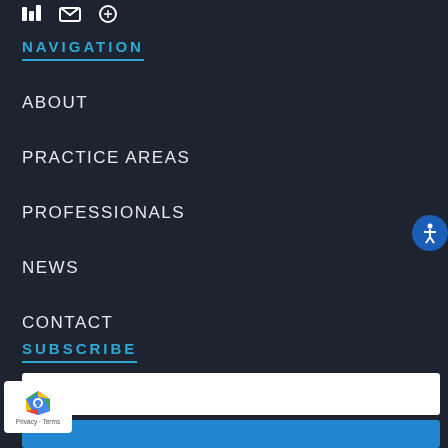[Figure (other): Three small social media / UI icons in white on dark background]
NAVIGATION
ABOUT
PRACTICE AREAS
PROFESSIONALS
NEWS
CONTACT
SUBSCRIBE
Email
[Figure (other): reCAPTCHA badge with logo and Privacy - Terms text]